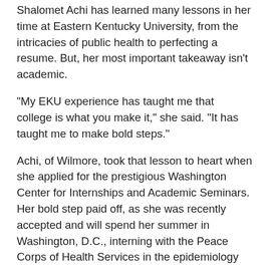Shalomet Achi has learned many lessons in her time at Eastern Kentucky University, from the intricacies of public health to perfecting a resume. But, her most important takeaway isn't academic.
“My EKU experience has taught me that college is what you make it,” she said. “It has taught me to make bold steps.”
Achi, of Wilmore, took that lesson to heart when she applied for the prestigious Washington Center for Internships and Academic Seminars. Her bold step paid off, as she was recently accepted and will spend her summer in Washington, D.C., interning with the Peace Corps of Health Services in the epidemiology unit.
As a public health major, Achi believes the internship will help her grow as a student and worker.
“It will advance me academically because, as an educational